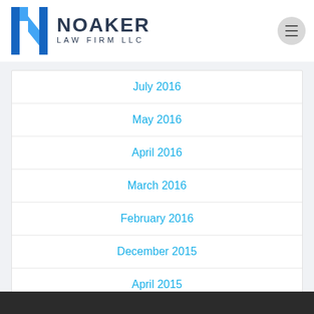[Figure (logo): Noaker Law Firm LLC logo with blue N icon and dark text]
July 2016
May 2016
April 2016
March 2016
February 2016
December 2015
April 2015